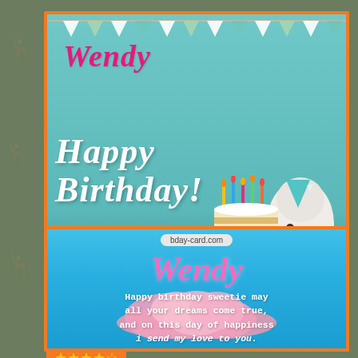[Figure (illustration): Birthday card with white dog wearing party hat next to birthday cake with candles, text says 'Wendy Happy Birthday!' on teal background with bunting]
Happiest Birthday pictures for Wendy with Dog
[Figure (illustration): Birthday card with pink cloud on sky blue background, 'Wendy' text in pink, website badge 'bday-card.com', message 'Happy birthday sweetie may all your dreams come true, and on this day of happiness i send my love to you.']